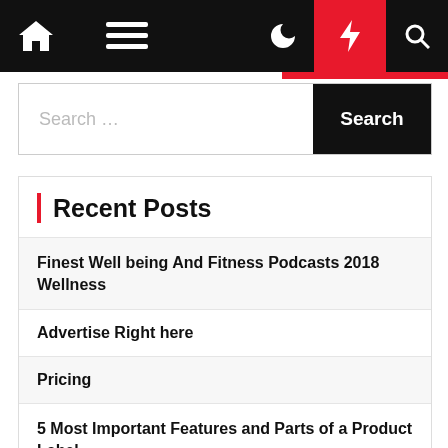Navigation bar with home, menu, dark mode, flash, and search icons
Search ...
Recent Posts
Finest Well being And Fitness Podcasts 2018 Wellness
Advertise Right here
Pricing
5 Most Important Features and Parts of a Product Label
What About Fitness?